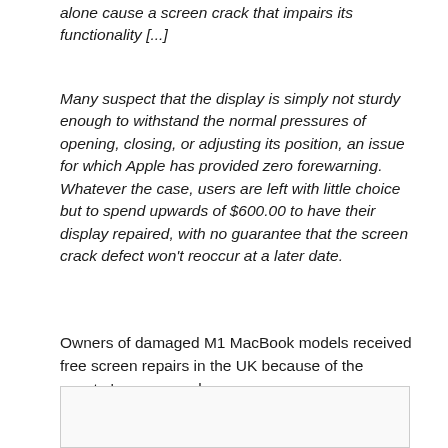alone cause a screen crack that impairs its functionality [...]
Many suspect that the display is simply not sturdy enough to withstand the normal pressures of opening, closing, or adjusting its position, an issue for which Apple has provided zero forewarning. Whatever the case, users are left with little choice but to spend upwards of $600.00 to have their display repaired, with no guarantee that the screen crack defect won't reoccur at a later date.
Owners of damaged M1 MacBook models received free screen repairs in the UK because of the country's consumer laws.
[Figure (other): Empty or partially visible box/image area at the bottom of the page]